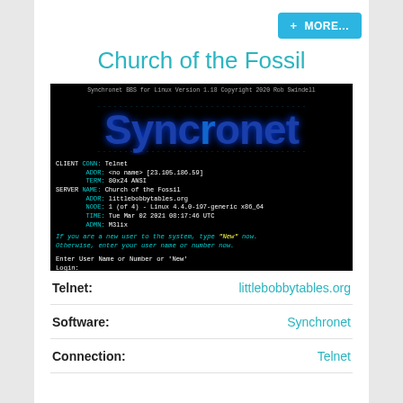+ MORE...
Church of the Fossil
[Figure (screenshot): BBS terminal screenshot showing Synchronet BBS for Linux welcome screen with blue gothic Synchronet logo, client/server info, and login prompt for 'Church of the Fossil' at littlebobbytables.org]
| Telnet: | littlebobbytables.org |
| Software: | Synchronet |
| Connection: | Telnet |